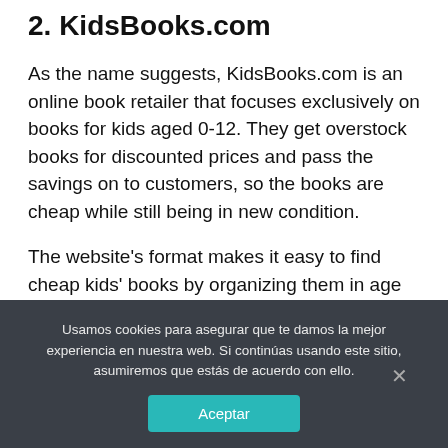2. KidsBooks.com
As the name suggests, KidsBooks.com is an online book retailer that focuses exclusively on books for kids aged 0-12. They get overstock books for discounted prices and pass the savings on to customers, so the books are cheap while still being in new condition.
The website's format makes it easy to find cheap kids' books by organizing them in age groups, reading level and subject. Puzzles, coloring books, toys and other kids activities are available.
Shipping is free on orders over $25.
Usamos cookies para asegurar que te damos la mejor experiencia en nuestra web. Si continúas usando este sitio, asumiremos que estás de acuerdo con ello.